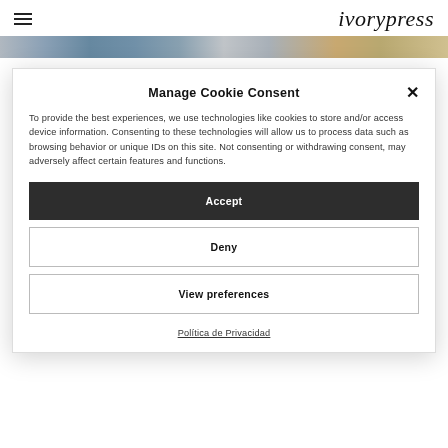ivorypress
[Figure (photo): Horizontal banner image showing artwork or paintings in muted blue, gray, and orange tones]
Manage Cookie Consent
To provide the best experiences, we use technologies like cookies to store and/or access device information. Consenting to these technologies will allow us to process data such as browsing behavior or unique IDs on this site. Not consenting or withdrawing consent, may adversely affect certain features and functions.
Accept
Deny
View preferences
Política de Privacidad